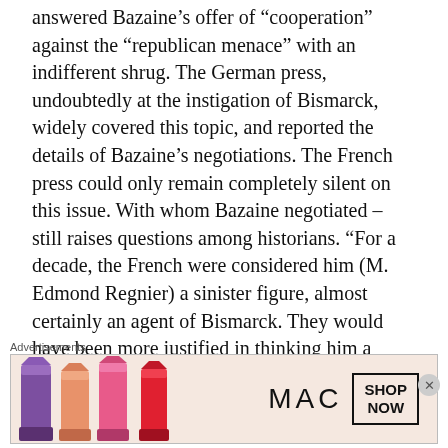answered Bazaine’s offer of “cooperation” against the “republican menace” with an indifferent shrug. The German press, undoubtedly at the instigation of Bismarck, widely covered this topic, and reported the details of Bazaine’s negotiations. The French press could only remain completely silent on this issue. With whom Bazaine negotiated – still raises questions among historians. “For a decade, the French were considered him (M. Edmond Regnier) a sinister figure, almost certainly an agent of Bismarck. They would have been more justified in thinking him a buffoon”. Undoubtedly, the politically motivated actions of Commander Bazaine led to the passivity of the encircled army at Metz and contributed to the defeat of not only thi
[Figure (other): Advertisement banner for MAC Cosmetics showing lipsticks in purple, pink/peach, and red colors beside the MAC logo and a SHOP NOW button]